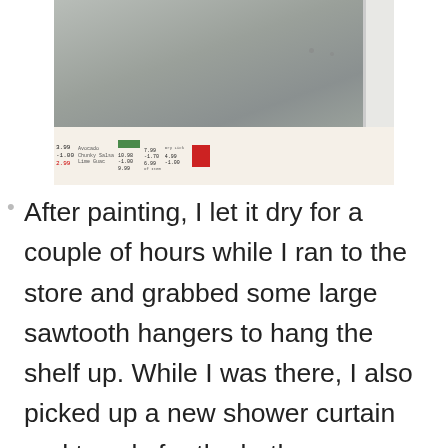[Figure (photo): A photo showing a painted wall/ceiling area with a receipt or price tag strip visible at the bottom of the image, showing various prices and discount information.]
After painting, I let it dry for a couple of hours while I ran to the store and grabbed some large sawtooth hangers to hang the shelf up.  While I was there, I also picked up a new shower curtain and towels for the bathroom because I figured a new shelf was excuse enough to update the rest of the bathroom. *wink*  The curtain had a